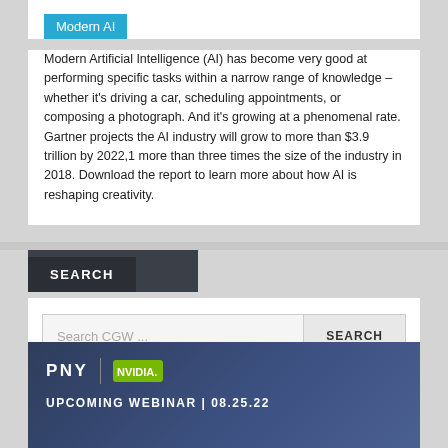Modern AI
Modern Artificial Intelligence (AI) has become very good at performing specific tasks within a narrow range of knowledge – whether it's driving a car, scheduling appointments, or composing a photograph. And it's growing at a phenomenal rate. Gartner projects the AI industry will grow to more than $3.9 trillion by 2022,1 more than three times the size of the industry in 2018. Download the report to learn more about how AI is reshaping creativity.
SEARCH
Search CGW ...
[Figure (logo): PNY and NVIDIA logos with UPCOMING WEBINAR | 08.25.22 text on dark blue gradient banner]